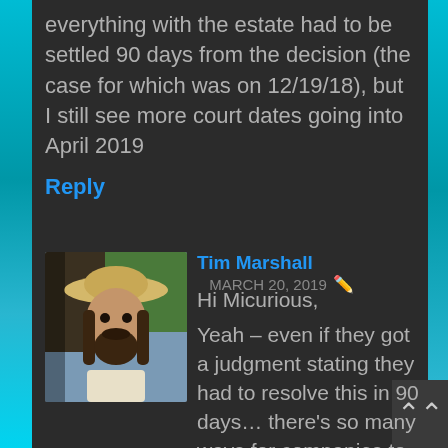everything with the estate had to be settled 90 days from the decision (the case for which was on 12/19/18), but I still see more court dates going into April 2019
Reply
Tim Marshall MARCH 20, 2019
[Figure (photo): Profile photo of Tim Marshall, a man with long hair and a cowboy hat, outdoors near a horse]
Hi Micurious,

Yeah – even if they got a judgment stating they had to resolve this in 90 days… there's so many ways for companies to extend deadlines, file appeals, cause problems for the legal system, etc.